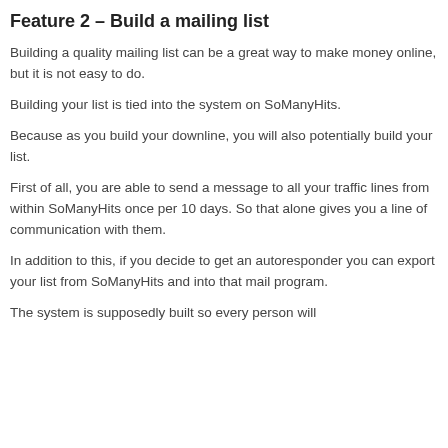Feature 2 – Build a mailing list
Building a quality mailing list can be a great way to make money online, but it is not easy to do.
Building your list is tied into the system on SoManyHits.
Because as you build your downline, you will also potentially build your list.
First of all, you are able to send a message to all your traffic lines from within SoManyHits once per 10 days. So that alone gives you a line of communication with them.
In addition to this, if you decide to get an autoresponder you can export your list from SoManyHits and into that mail program.
The system is supposedly built so every person will